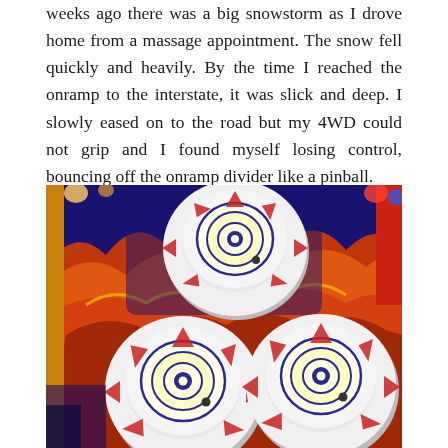weeks ago there was a big snowstorm as I drove home from a massage appointment. The snow fell quickly and heavily. By the time I reached the onramp to the interstate, it was slick and deep. I slowly eased on to the road but my 4WD could not grip and I found myself losing control, bouncing off the onramp divider like a pinball.
[Figure (photo): Close-up photograph of three illuminated pinball machine bumpers on a colorful game board with blue, red, orange, and yellow flaming design. The bumpers are white and round with blue concentric circle targets and red triangle arrow decorations.]